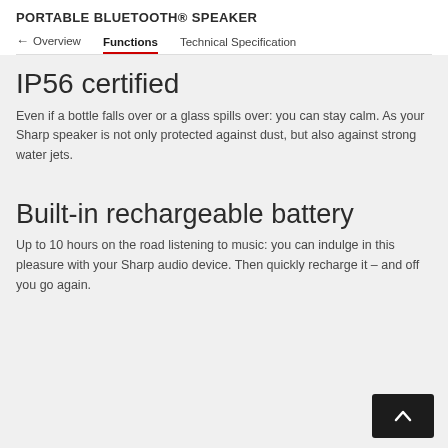PORTABLE BLUETOOTH® SPEAKER
Overview | Functions | Technical Specification
IP56 certified
Even if a bottle falls over or a glass spills over: you can stay calm. As your Sharp speaker is not only protected against dust, but also against strong water jets.
Built-in rechargeable battery
Up to 10 hours on the road listening to music: you can indulge in this pleasure with your Sharp audio device. Then quickly recharge it – and off you go again.